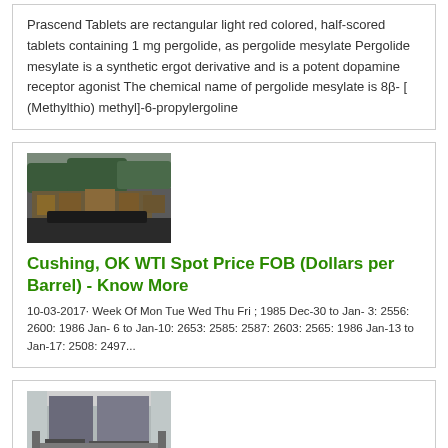Prascend Tablets are rectangular light red colored, half-scored tablets containing 1 mg pergolide, as pergolide mesylate Pergolide mesylate is a synthetic ergot derivative and is a potent dopamine receptor agonist The chemical name of pergolide mesylate is 8β- [ (Methylthio) methyl]-6-propylergoline
[Figure (photo): Aerial or outdoor photo showing industrial equipment, possibly mining or conveyor machinery, with dark background]
Cushing, OK WTI Spot Price FOB (Dollars per Barrel) - Know More
10-03-2017· Week Of Mon Tue Wed Thu Fri ; 1985 Dec-30 to Jan- 3: 2556: 2600: 1986 Jan- 6 to Jan-10: 2653: 2585: 2587: 2603: 2565: 1986 Jan-13 to Jan-17: 2508: 2497...
[Figure (photo): Industrial machinery or equipment inside a warehouse or factory building]